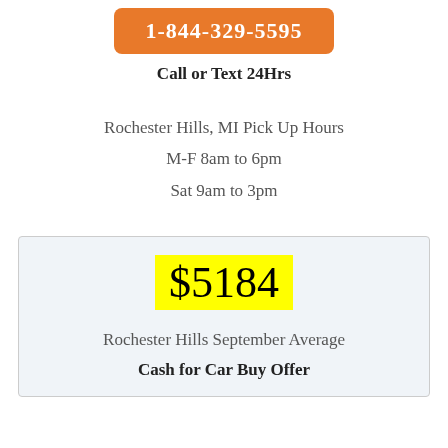1-844-329-5595
Call or Text 24Hrs
Rochester Hills, MI Pick Up Hours
M-F 8am to 6pm
Sat 9am to 3pm
$5184
Rochester Hills September Average
Cash for Car Buy Offer